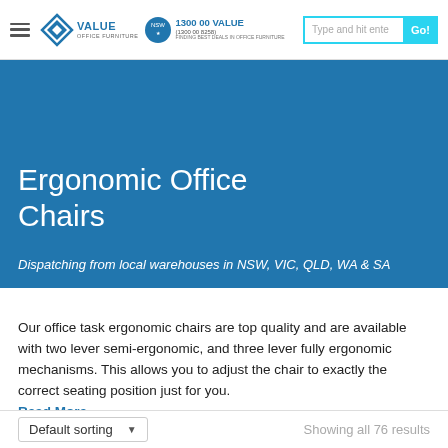VALUE OFFICE FURNITURE | 1300 00 VALUE (1300 00 8258)
Ergonomic Office Chairs
Dispatching from local warehouses in NSW, VIC, QLD, WA & SA
Our office task ergonomic chairs are top quality and are available with two lever semi-ergonomic, and three lever fully ergonomic mechanisms. This allows you to adjust the chair to exactly the correct seating position just for you.
Read More
Default sorting  Showing all 76 results